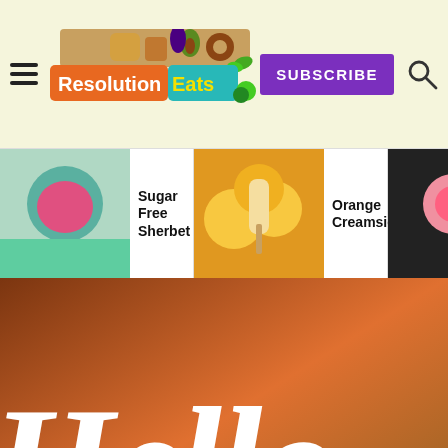[Figure (screenshot): Resolution Eats website screenshot showing header with hamburger menu, logo, subscribe button, search icon, navigation strip with food thumbnails (Sugar Free Sherbet, Orange Creamsicles, Sugar Free Rhubarb Cream), hero image with 'Hello' text, yellow callout box with intro text, and floating UI buttons.]
Resolution Eats — SUBSCRIBE
Sugar Free Sherbet
Orange Creamsicles
Sugar Free Rhubarb Cream
I'm Emily, the diabetic behind Resolution Eats. Many years ago, I made a New Year's resolution to switch to a low carb diet. It improved both my health and my outlook...